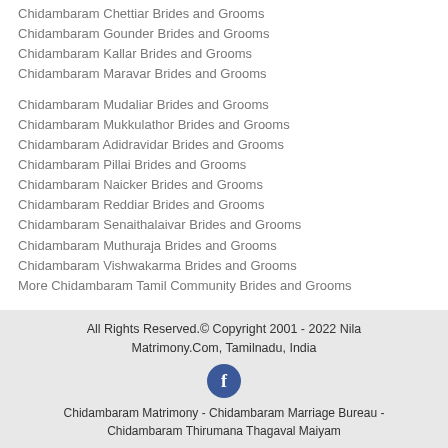Chidambaram Chettiar Brides and Grooms
Chidambaram Gounder Brides and Grooms
Chidambaram Kallar Brides and Grooms
Chidambaram Maravar Brides and Grooms
Chidambaram Mudaliar Brides and Grooms
Chidambaram Mukkulathor Brides and Grooms
Chidambaram Adidravidar Brides and Grooms
Chidambaram Pillai Brides and Grooms
Chidambaram Naicker Brides and Grooms
Chidambaram Reddiar Brides and Grooms
Chidambaram Senaithalaivar Brides and Grooms
Chidambaram Muthuraja Brides and Grooms
Chidambaram Vishwakarma Brides and Grooms
More Chidambaram Tamil Community Brides and Grooms
All Rights Reserved.© Copyright 2001 - 2022 Nila Matrimony.Com, Tamilnadu, India
Chidambaram Matrimony - Chidambaram Marriage Bureau - Chidambaram Thirumana Thagaval Maiyam